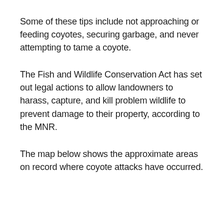Some of these tips include not approaching or feeding coyotes, securing garbage, and never attempting to tame a coyote.
The Fish and Wildlife Conservation Act has set out legal actions to allow landowners to harass, capture, and kill problem wildlife to prevent damage to their property, according to the MNR.
The map below shows the approximate areas on record where coyote attacks have occurred.